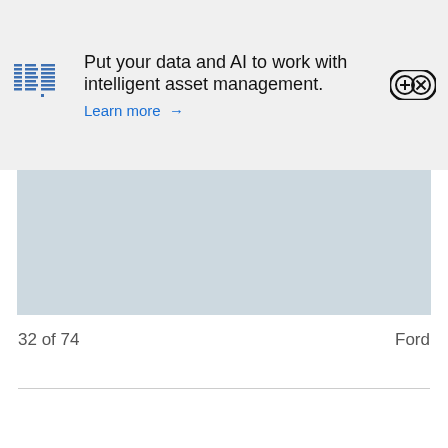[Figure (infographic): IBM advertisement banner with IBM logo on the left, text 'Put your data and AI to work with intelligent asset management. Learn more →' in the center, and a controller/gamepad icon on the right. Background is light gray.]
[Figure (photo): Light blue/gray rectangular area, partially visible, appears to be an image placeholder or continuation of page content.]
32 of 74    Ford